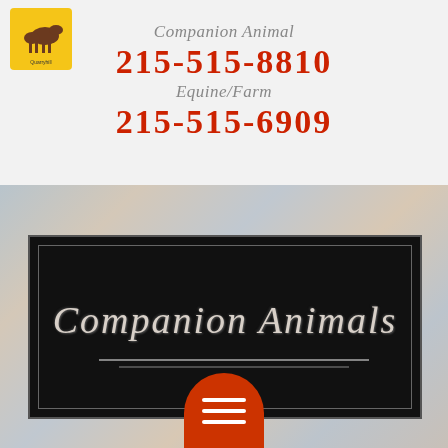[Figure (logo): Quarryhill or similar equine/farm veterinary clinic logo with horse icon and yellow/orange colors]
Companion Animal
215-515-8810
Equine/Farm
215-515-6909
[Figure (illustration): Black chalkboard-style sign with decorative border reading 'Companion Animals' with double underline, on a blurred background]
[Figure (other): Red rounded hamburger/menu button with three white horizontal lines]